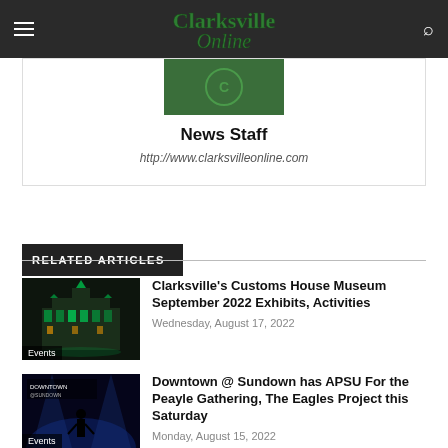Clarksville Online
[Figure (screenshot): Clarksville Online logo on dark header bar]
News Staff
http://www.clarksvilleonline.com
RELATED ARTICLES
[Figure (photo): Night photo of Clarksville Customs House Museum building lit in green]
Clarksville's Customs House Museum September 2022 Exhibits, Activities
Wednesday, August 17, 2022
[Figure (photo): Concert/event photo with Downtown @ Sundown signage and blue lighting]
Downtown @ Sundown has APSU For the Peayle Gathering, The Eagles Project this Saturday
Monday, August 15, 2022